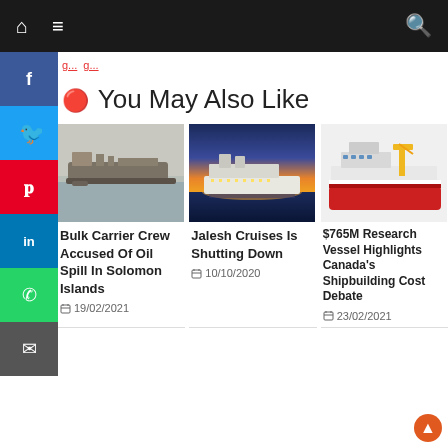Navigation bar with home, menu, and search icons
You May Also Like
[Figure (photo): Bulk carrier ship in foggy/hazy water conditions]
Bulk Carrier Crew Accused Of Oil Spill In Solomon Islands
19/02/2021
[Figure (photo): Cruise ship lit up at sunset on calm water]
Jalesh Cruises Is Shutting Down
10/10/2020
[Figure (photo): Red and white research vessel with yellow crane]
$765M Research Vessel Highlights Canada's Shipbuilding Cost Debate
23/02/2021